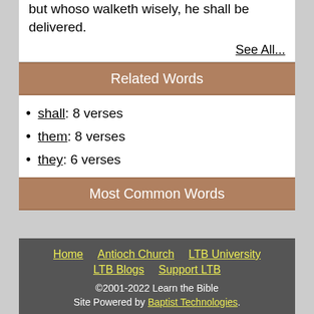but whoso walketh wisely, he shall be delivered.
See All...
Related Words
shall: 8 verses
them: 8 verses
they: 6 verses
Most Common Words
Home  Antioch Church  LTB University  LTB Blogs  Support LTB  ©2001-2022 Learn the Bible  Site Powered by Baptist Technologies.